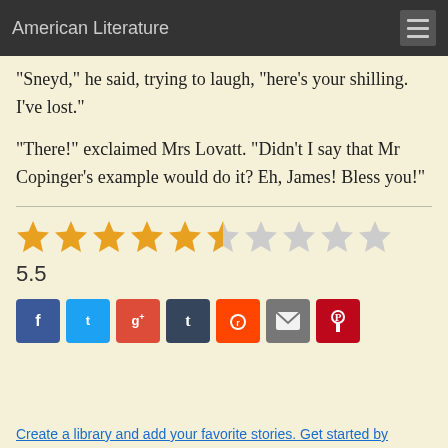American Literature
"Sneyd," he said, trying to laugh, "here's your shilling. I've lost."
"There!" exclaimed Mrs Lovatt. "Didn't I say that Mr Copinger's example would do it? Eh, James! Bless you!"
[Figure (other): Star rating display showing 5.5 out of 10 stars: 5 full orange stars, 1 half orange star, 4 empty gray stars]
5.5
[Figure (other): Social sharing buttons: Facebook (blue), Twitter (light blue), Google+ (red), Tumblr (dark blue), Reddit (orange), Email (gray), Pinterest (dark red)]
Create a library and add your favorite stories. Get started by